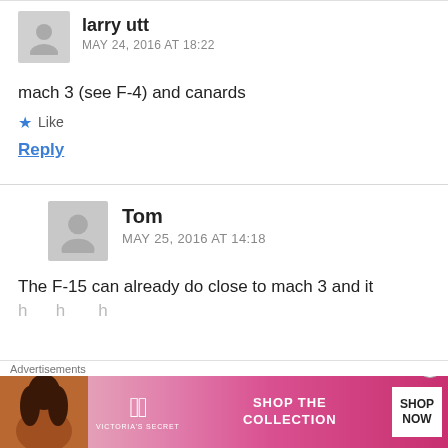larry utt
MAY 24, 2016 AT 18:22
mach 3 (see F-4) and canards
Like
Reply
Tom
MAY 25, 2016 AT 14:18
The F-15 can already do close to mach 3 and it
Advertisements
[Figure (other): Victoria's Secret advertisement banner with woman's photo, VS logo, 'SHOP THE COLLECTION' text and 'SHOP NOW' button]